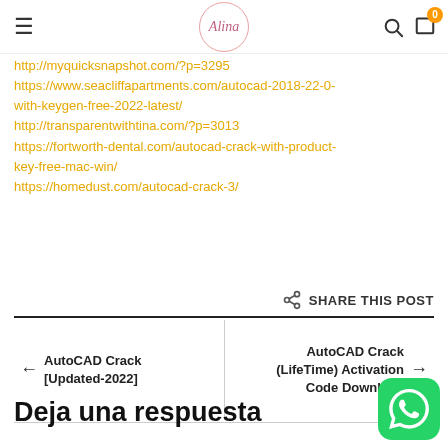≡  Alina  🔍  0
http://myquicksnapshot.com/?p=3295
https://www.seacliffapartments.com/autocad-2018-22-0-with-keygen-free-2022-latest/
http://transparentwithtina.com/?p=3013
https://fortworth-dental.com/autocad-crack-with-product-key-free-mac-win/
https://homedust.com/autocad-crack-3/
SHARE THIS POST
← AutoCAD Crack [Updated-2022]
AutoCAD Crack (LifeTime) Activation Code Download →
Deja una respuesta